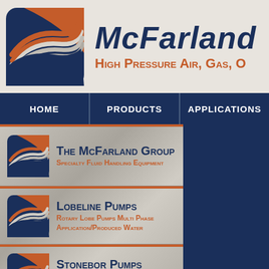[Figure (logo): McFarland Group logo with S-curve swoosh in orange, white, and blue on dark navy rounded square background]
McFarland
High Pressure Air, Gas, O
HOME | PRODUCTS | APPLICATIONS
[Figure (logo): Small McFarland logo icon]
The McFarland Group
Specialty Fluid Handling Equipment
[Figure (logo): Small McFarland logo icon]
Lobeline Pumps
Rotary Lobe Pumps Multi Phase Application/Produced Water
[Figure (logo): Small McFarland logo icon]
Stonebor Pumps
High Pressure Air Or Gas Driven Pumps